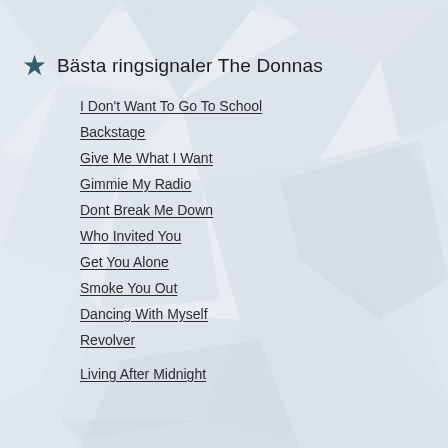Bästa ringsignaler The Donnas
I Don't Want To Go To School
Backstage
Give Me What I Want
Gimmie My Radio
Dont Break Me Down
Who Invited You
Get You Alone
Smoke You Out
Dancing With Myself
Revolver
Living After Midnight